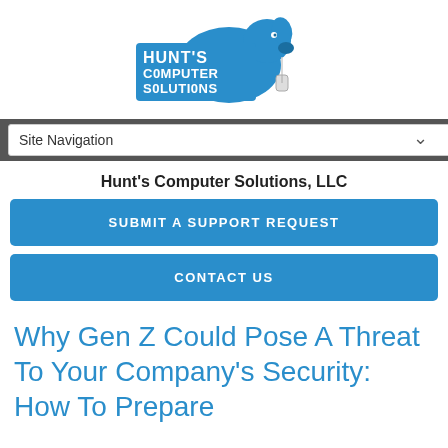[Figure (logo): Hunt's Computer Solutions LLC logo — blue dog silhouette with computer mouse, bold pixel-style text reading HUNT'S COMPUTER SOLUTIONS]
Site Navigation
Hunt's Computer Solutions, LLC
SUBMIT A SUPPORT REQUEST
CONTACT US
Why Gen Z Could Pose A Threat To Your Company's Security: How To Prepare